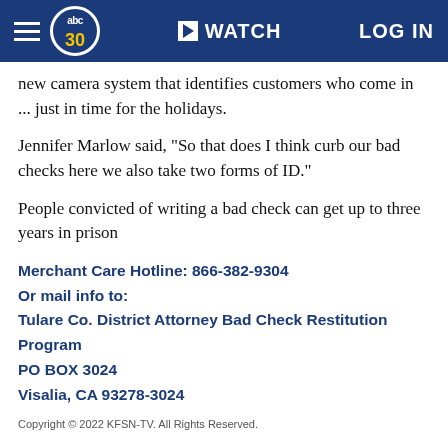abc30 | WATCH | LOG IN
new camera system that identifies customers who come in ... just in time for the holidays.
Jennifer Marlow said, "So that does I think curb our bad checks here we also take two forms of ID."
People convicted of writing a bad check can get up to three years in prison
Merchant Care Hotline: 866-382-9304
Or mail info to:
Tulare Co. District Attorney Bad Check Restitution Program
PO BOX 3024
Visalia, CA 93278-3024
Copyright © 2022 KFSN-TV. All Rights Reserved.